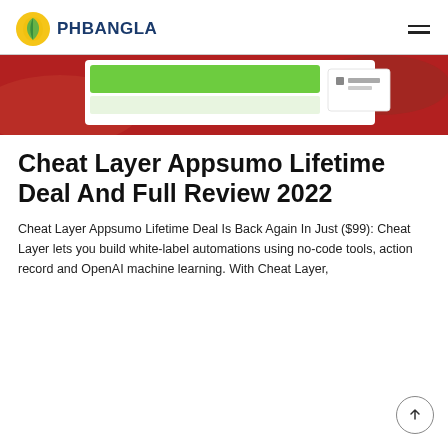[Figure (logo): PhBangla logo with yellow circular icon with leaf and blue uppercase text PHBANGLA]
[Figure (screenshot): Partial screenshot of a web interface showing a green search bar on a red background with a small white popup card]
Cheat Layer Appsumo Lifetime Deal And Full Review 2022
Cheat Layer Appsumo Lifetime Deal Is Back Again In Just ($99): Cheat Layer lets you build white-label automations using no-code tools, action record and OpenAI machine learning. With Cheat Layer,